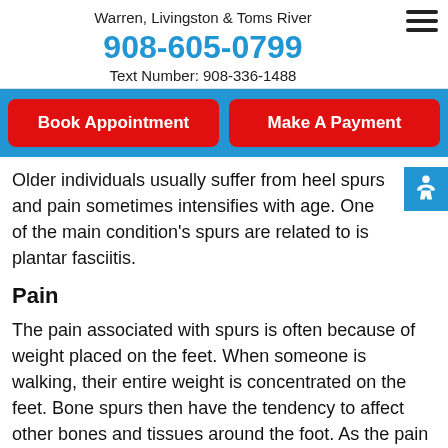Warren, Livingston & Toms River
908-605-0799
Text Number: 908-336-1488
Book Appointment
Make A Payment
Older individuals usually suffer from heel spurs and pain sometimes intensifies with age. One of the main condition's spurs are related to is plantar fasciitis.
Pain
The pain associated with spurs is often because of weight placed on the feet. When someone is walking, their entire weight is concentrated on the feet. Bone spurs then have the tendency to affect other bones and tissues around the foot. As the pain continues, the feet will become tender and sensitive over time.